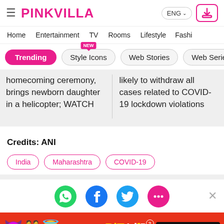PINKVILLA — ENG
Home | Entertainment | TV | Rooms | Lifestyle | Fashi
Trending
Style Icons (NEW)
Web Stories
Web Series
homecoming ceremony, brings newborn daughter in a helicopter; WATCH
likely to withdraw all cases related to COVID-19 lockdown violations
Credits: ANI
India
Maharashtra
COVID-19
[Figure (infographic): Social share icons: WhatsApp, Facebook, Twitter, Comments]
[Figure (infographic): BitLife Real Choices advertisement banner with emoji characters]